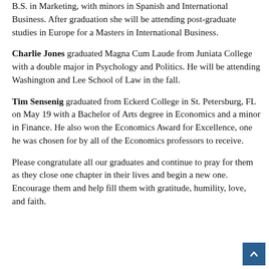B.S. in Marketing, with minors in Spanish and International Business. After graduation she will be attending post-graduate studies in Europe for a Masters in International Business.
Charlie Jones graduated Magna Cum Laude from Juniata College with a double major in Psychology and Politics. He will be attending Washington and Lee School of Law in the fall.
Tim Sensenig graduated from Eckerd College in St. Petersburg, FL on May 19 with a Bachelor of Arts degree in Economics and a minor in Finance. He also won the Economics Award for Excellence, one he was chosen for by all of the Economics professors to receive.
Please congratulate all our graduates and continue to pray for them as they close one chapter in their lives and begin a new one. Encourage them and help fill them with gratitude, humility, love, and faith.